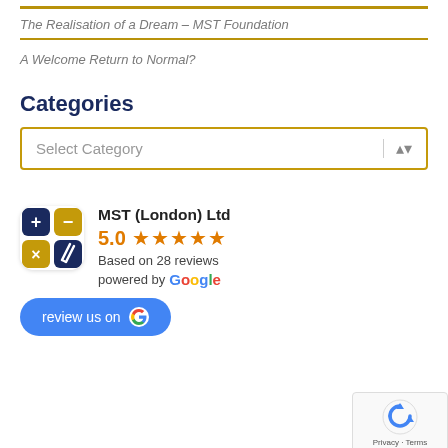The Realisation of a Dream – MST Foundation
A Welcome Return to Normal?
Categories
Select Category
[Figure (logo): MST (London) Ltd logo — dark blue and gold calculator icon with four quadrants]
MST (London) Ltd 5.0 ★★★★★ Based on 28 reviews powered by Google
[Figure (infographic): review us on Google button — blue pill-shaped button with Google G icon]
[Figure (other): reCAPTCHA badge — Privacy · Terms]